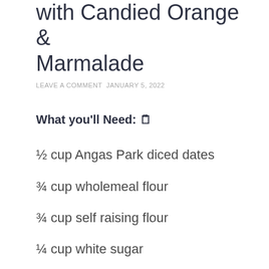with Candied Orange & Marmalade
LEAVE A COMMENT  JANUARY 5, 2022
What you'll Need: 🗒
½ cup Angas Park diced dates
¾ cup wholemeal flour
¾ cup self raising flour
¼ cup white sugar